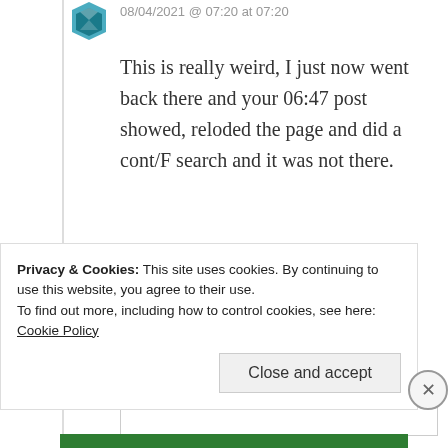08/04/2021 @ 07:20 at 07:20
This is really weird, I just now went back there and your 06:47 post showed, reloded the page and did a cont/F search and it was not there.
★ Liked by 1 person
↳ Reply
Privacy & Cookies: This site uses cookies. By continuing to use this website, you agree to their use. To find out more, including how to control cookies, see here: Cookie Policy
Close and accept